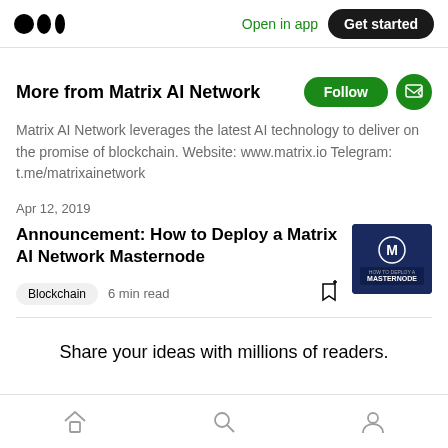Medium logo | Open in app | Get started
More from Matrix AI Network
Matrix AI Network leverages the latest AI technology to deliver on the promise of blockchain. Website: www.matrix.io Telegram: t.me/matrixainetwork
Apr 12, 2019
Announcement: How to Deploy a Matrix AI Network Masternode
Blockchain  6 min read
[Figure (screenshot): Matrix AI Network Masternode article thumbnail image - dark blue background with logo]
Share your ideas with millions of readers.
Home | Search | Profile